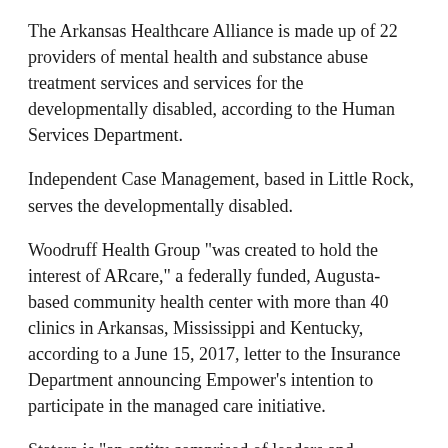The Arkansas Healthcare Alliance is made up of 22 providers of mental health and substance abuse treatment services and services for the developmentally disabled, according to the Human Services Department.
Independent Case Management, based in Little Rock, serves the developmentally disabled.
Woodruff Health Group "was created to hold the interest of ARcare," a federally funded, Augusta-based community health center with more than 40 clinics in Arkansas, Mississippi and Kentucky, according to a June 15, 2017, letter to the Insurance Department announcing Empower's intention to participate in the managed care initiative.
Statera is "an entity comprised of leaders and innovators committed to serving the long-term support services needs of Arkansans," according to Empower's website.
Representatives of Summit Community Care and Empower